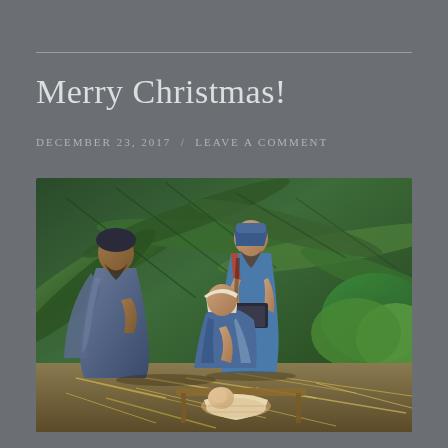Merry Christmas!
DECEMBER 23, 2017  /  LEAVE A COMMENT
[Figure (photo): Nativity scene figurines showing Mary, Joseph, a wise man, and baby Jesus in a manger surrounded by straw and tropical green plants in the background.]